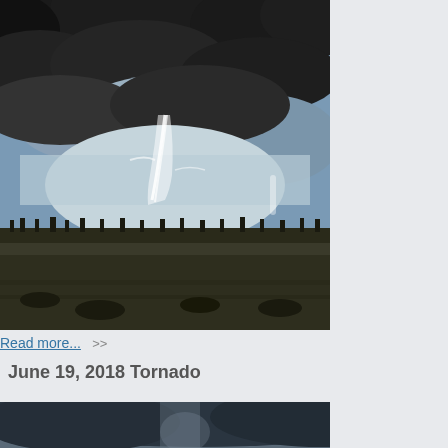[Figure (photo): A tornado funnel cloud descending from dark storm clouds over a flat prairie landscape with a treeline on the horizon]
Read more...  >>
June 19, 2018 Tornado
[Figure (photo): Bottom portion of another tornado or storm cloud photo, showing dark clouds over landscape]